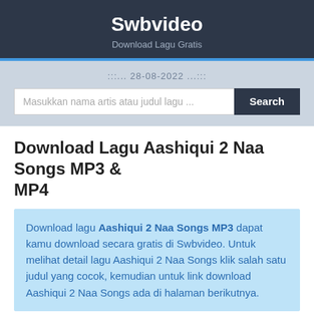Swbvideo
Download Lagu Gratis
:::... 28-08-2022 ...:::
Download Lagu Aashiqui 2 Naa Songs MP3 & MP4
Download lagu Aashiqui 2 Naa Songs MP3 dapat kamu download secara gratis di Swbvideo. Untuk melihat detail lagu Aashiqui 2 Naa Songs klik salah satu judul yang cocok, kemudian untuk link download Aashiqui 2 Naa Songs ada di halaman berikutnya.
1
Chahun Main Ya Naa Full Song Aashiqui 2 | Aditya Roy Kapur,